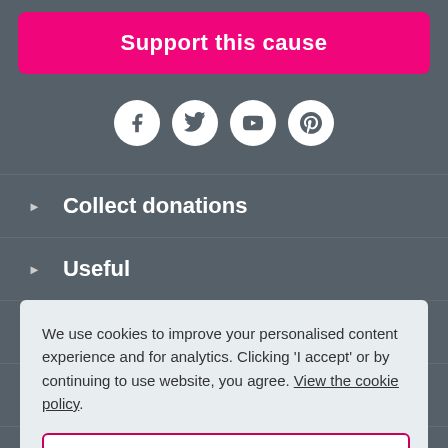Support this cause
[Figure (illustration): Social media icons row: Facebook, Twitter, YouTube, Pinterest]
Collect donations
Useful
Support
About us
Policies
Get the apps
We use cookies to improve your personalised content experience and for analytics. Clicking ‘I accept’ or by continuing to use website, you agree. View the cookie policy.
I accept